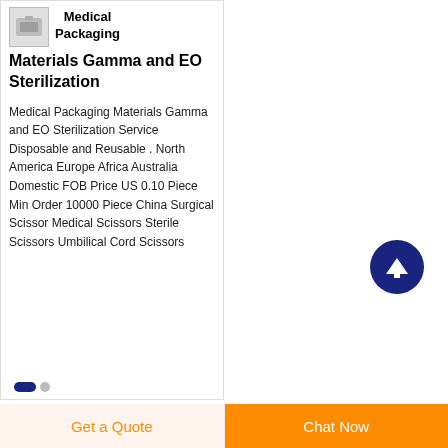[Figure (photo): Small product thumbnail image of medical packaging material]
Medical Packaging Materials Gamma and EO Sterilization
Medical Packaging Materials Gamma and EO Sterilization Service Disposable and Reusable . North America Europe Africa Australia Domestic FOB Price US 0.10 Piece Min Order 10000 Piece China Surgical Scissor Medical Scissors Sterile Scissors Umbilical Cord Scissors